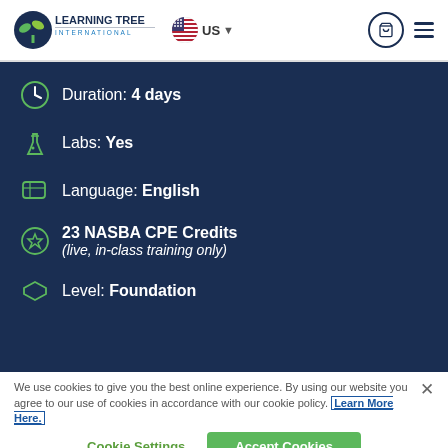Learning Tree International | US
Duration: 4 days
Labs: Yes
Language: English
23 NASBA CPE Credits (live, in-class training only)
Level: Foundation
We use cookies to give you the best online experience. By using our website you agree to our use of cookies in accordance with our cookie policy. Learn More Here.
Cookie Settings | Accept Cookies